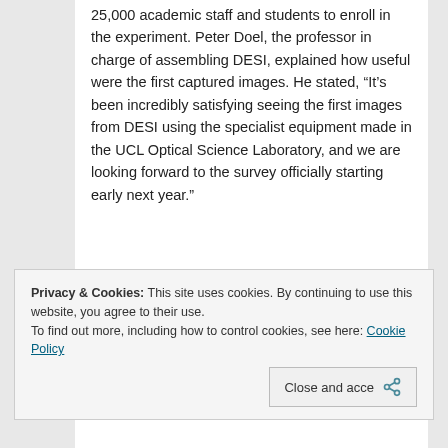25,000 academic staff and students to enroll in the experiment. Peter Doel, the professor in charge of assembling DESI, explained how useful were the first captured images. He stated, “It’s been incredibly satisfying seeing the first images from DESI using the specialist equipment made in the UCL Optical Science Laboratory, and we are looking forward to the survey officially starting early next year.”
Privacy & Cookies: This site uses cookies. By continuing to use this website, you agree to their use.
To find out more, including how to control cookies, see here: Cookie Policy